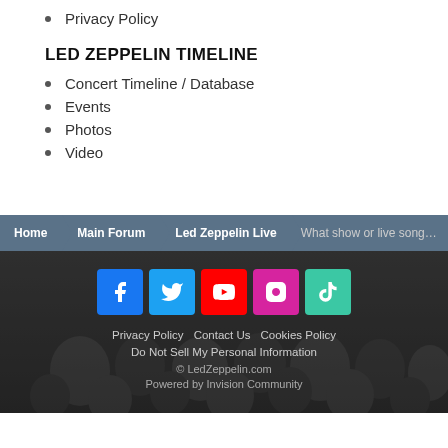Privacy Policy
LED ZEPPELIN TIMELINE
Concert Timeline / Database
Events
Photos
Video
Home | Main Forum | Led Zeppelin Live | What show or live song are you...
[Figure (other): Social media icons: Facebook, Twitter, YouTube, Instagram, TikTok]
Privacy Policy   Contact Us   Cookies Policy
Do Not Sell My Personal Information
© LedZeppelin.com
Powered by Invision Community